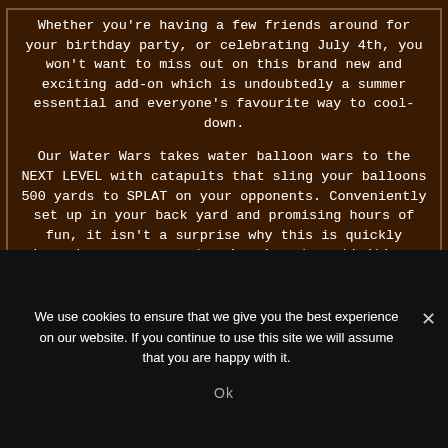Whether you're having a few friends around for your birthday party, or celebrating July 4th, you won't want to miss out on this brand new and exciting add-on which is undoubtedly a summer essential and everyone's favourite way to cool-down.

Our Water Wars takes water balloon wars to the NEXT LEVEL with catapults that sling your balloons 500 yards to SPLAT on your opponents. Conveniently set up in your back yard and promising hours of fun, it isn't a surprise why this is quickly becoming one our most enjoyed party activities.
[Figure (illustration): Dark brown background with two grey hill/mound shapes at the bottom]
We use cookies to ensure that we give you the best experience on our website. If you continue to use this site we will assume that you are happy with it.
Ok